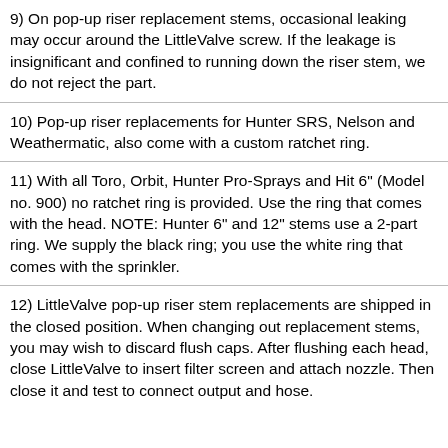9) On pop-up riser replacement stems, occasional leaking may occur around the LittleValve screw. If the leakage is insignificant and confined to running down the riser stem, we do not reject the part.
10) Pop-up riser replacements for Hunter SRS, Nelson and Weathermatic, also come with a custom ratchet ring.
11) With all Toro, Orbit, Hunter Pro-Sprays and Hit 6" (Model no. 900) no ratchet ring is provided. Use the ring that comes with the head. NOTE: Hunter 6" and 12" stems use a 2-part ring. We supply the black ring; you use the white ring that comes with the sprinkler.
12) LittleValve pop-up riser stem replacements are shipped in the closed position. When changing out replacement stems, you may wish to discard flush caps. After flushing each head, close LittleValve to insert filter screen and attach nozzle. Then close it and test to connect output and hose.